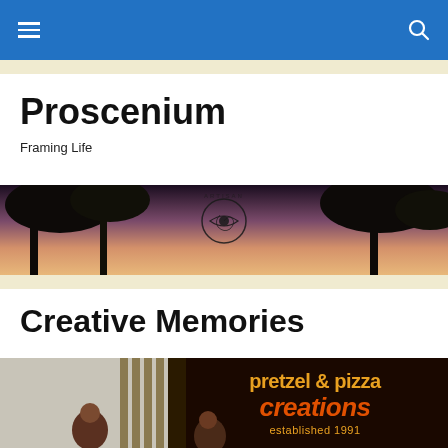Proscenium — navigation bar with hamburger menu and search icon
Proscenium
Framing Life
[Figure (photo): Banner photo showing silhouetted trees against a purple-pink sunset sky, with an Artisan camera logo (spiral eye) centered at top]
Creative Memories
[Figure (photo): Photo of people standing in front of a 'pretzel & pizza creations established 1991' storefront sign with orange neon-style lettering on dark background]